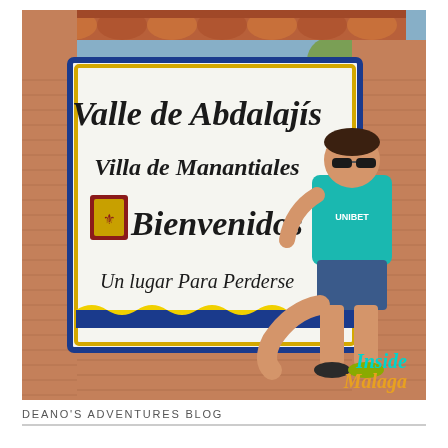[Figure (photo): A man in a teal UNIBET shirt and sunglasses leans against a decorative tiled sign on a brick wall. The sign reads 'Valle de Abdalajís / Villa de Manantiales / Bienvenidos / Un lugar Para Perderse'. An 'Inside Malaga' watermark appears in the bottom right corner of the photo.]
DEANO'S ADVENTURES BLOG